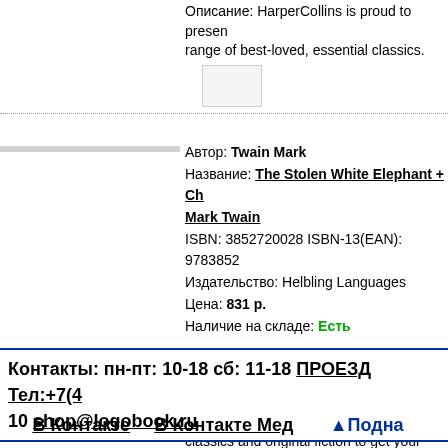Описание: HarperCollins is proud to present range of best-loved, essential classics.
Автор: Twain Mark
Название: The Stolen White Elephant + Cl Mark Twain
ISBN: 3852720028 ISBN-13(EAN): 9783852
Издательство: Helbling Languages
Цена: 831 р.
Наличие на складе: Есть
Описание: Helbling Readers Red Series is a young teenagers. It includes a selection of a classics and original fiction to get your stude for pleasure right from beginner level.
Контакты: пн-пт: 10-18 сб: 11-18 ПРОЕЗД Тел:+7(4 10 shop@logobook.ru
В Контакте   В Контакте Мед   Подна